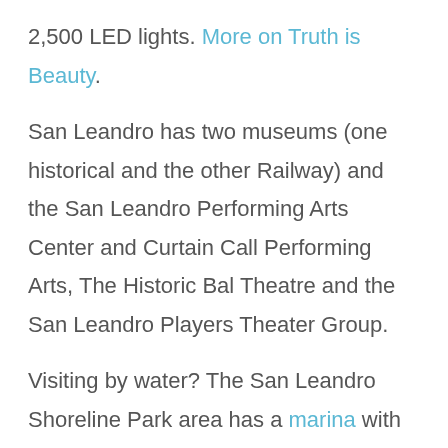2,500 LED lights. More on Truth is Beauty.
San Leandro has two museums (one historical and the other Railway) and the San Leandro Performing Arts Center and Curtain Call Performing Arts, The Historic Bal Theatre and the San Leandro Players Theater Group.
Visiting by water? The San Leandro Shoreline Park area has a marina with 462 berths, a boat launch ramp, two yacht clubs and an off-leash park for your dogs. The San Francisco Bay connects us all